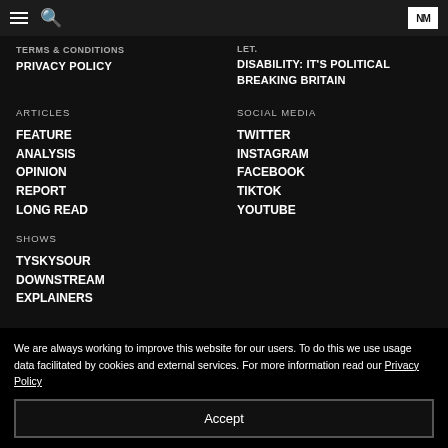Navigation header with hamburger menu, search icon, and NM logo
TERMS & CONDITIONS
PRIVACY POLICY
DISABILITY: IT'S POLITICAL
BREAKING BRITAIN
ARTICLES
SOCIAL MEDIA
FEATURE
TWITTER
ANALYSIS
INSTAGRAM
OPINION
FACEBOOK
REPORT
TIKTOK
LONG READ
YOUTUBE
SHOWS
TYSKYSOUR
DOWNSTREAM
EXPLAINERS
We are always working to improve this website for our users. To do this we use usage data facilitated by cookies and external services. For more information read our Privacy Policy
Accept